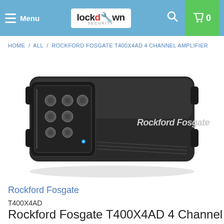Menu | Lockdown Security | Search | Cart 0
HOME / ALL / ROCKFORD FOSGATE T400X4AD 4 CHANNEL AMPLIFIER
[Figure (photo): Rockford Fosgate T400X4AD 4-channel car amplifier, dark gray/black rectangular unit with control panel on left side showing knobs and connectors, Rockford Fosgate logo on top surface, on white background.]
Rockford Fosgate
T400X4AD
Rockford Fosgate T400X4AD 4 Channel